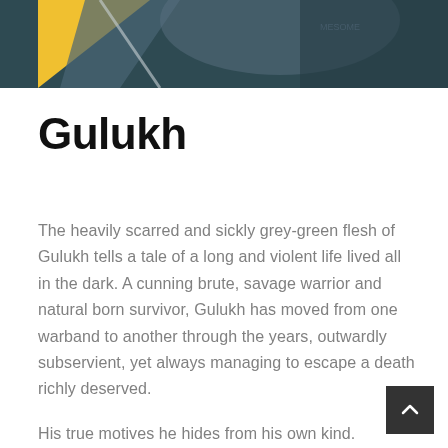[Figure (illustration): Partial illustration showing a dark teal/grey background with a yellow triangular shape and grey curved elements, partially cropped at the top of the page.]
Gulukh
The heavily scarred and sickly grey-green flesh of Gulukh tells a tale of a long and violent life lived all in the dark. A cunning brute, savage warrior and natural born survivor, Gulukh has moved from one warband to another through the years, outwardly subservient, yet always managing to escape a death richly deserved.
His true motives he hides from his own kind. Perhaps even from himself…